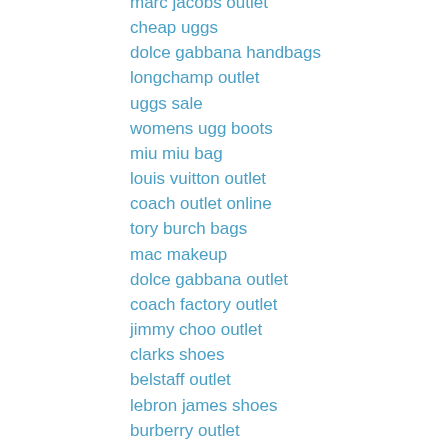marc jacobs outlet
cheap uggs
dolce gabbana handbags
longchamp outlet
uggs sale
womens ugg boots
miu miu bag
louis vuitton outlet
coach outlet online
tory burch bags
mac makeup
dolce gabbana outlet
coach factory outlet
jimmy choo outlet
clarks shoes
belstaff outlet
lebron james shoes
burberry outlet
cheap toms
Reply